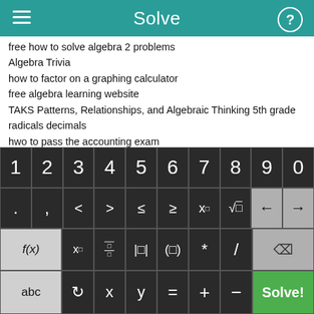Solve
free how to solve algebra 2 problems
Algebra Trivia
how to factor on a graphing calculator
free algebra learning website
TAKS Patterns, Relationships, and Algebraic Thinking 5th grade
radicals decimals
hwo to pass the accounting exam
lesson plans for multiplying and dividing integers
nonlinear first order differential equations
do algebra problems free online
[Figure (screenshot): Calculator keyboard with digits 1-9,0; symbols including . , < > ≤ ≥ x^□ √□ and arrow keys; function keys f(x) x□ fraction abs-value grouping * / delete; and bottom row abc, rotate, x, y, =, +, -, Solve! button]